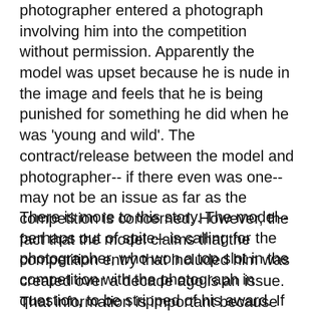photographer entered a photograph involving him into the competition without permission. Apparently the model was upset because he is nude in the image and feels that he is being punished for something he did when he was 'young and wild'. The contract/release between the model and photographer-- if there even was one-- may not be an issue as far as the competition is concerned. However, the fact that the model claims that the competition entry that included him was created over a decade ago is an issue. That information is important because the competition clearly stated in the rules that all entries must have been created in the last year. If the claim is true that would mean that the entry is fraudulent.
There is more to this story. The model-- perhaps out of spite-- is calling for the photographer, who won a top slot in the competition with the photograph in question, to be stripped of his award. If the photographer knowingly violated the terms of the competition that may very well be the solution. However, the facts are not out yet on this story and the competition rules were not exactly clear in the article. Thus, I'm hesitant to mention names because of that lack of information and also that the names are quite untiblde on the